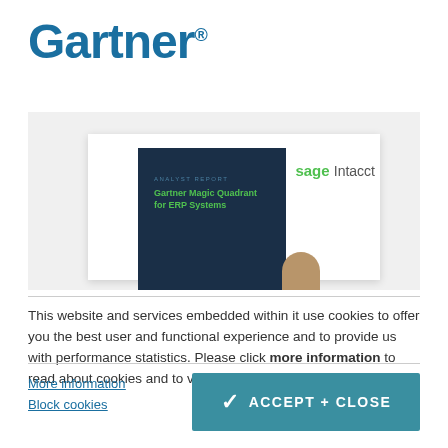[Figure (logo): Gartner logo in blue with registered trademark symbol]
[Figure (screenshot): Screenshot of a Gartner webpage showing a Sage Intacct analyst report for ERP Systems with a dark navy book cover and green text]
This website and services embedded within it use cookies to offer you the best user and functional experience and to provide us with performance statistics. Please click more information to read about cookies and to view the cookies we use.
More information
Block cookies
ACCEPT + CLOSE